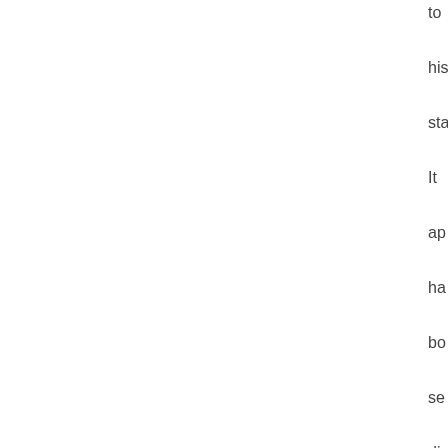to
his
sta
It
ap
ha
bo
se
di
ph
fro
oth
ite
he
sai
or
wri